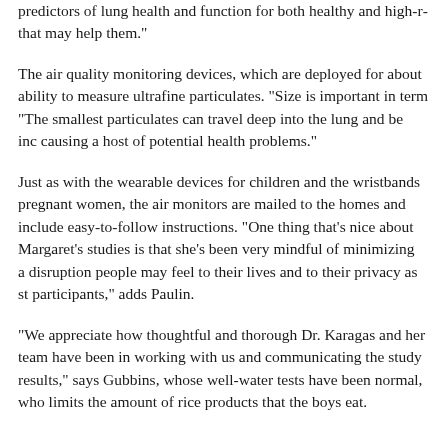predictors of lung health and function for both healthy and high-r… that may help them."
The air quality monitoring devices, which are deployed for about … "The smallest particulates can travel deep into the lung and be inc… causing a host of potential health problems."
Just as with the wearable devices for children and the wristbands … pregnant women, the air monitors are mailed to the homes and include easy-to-follow instructions. "One thing that's nice about Margaret's studies is that she's been very mindful of minimizing a… disruption people may feel to their lives and to their privacy as stu… participants," adds Paulin.
"We appreciate how thoughtful and thorough Dr. Karagas and her team have been in working with us and communicating the study results," says Gubbins, whose well-water tests have been normal, who limits the amount of rice products that the boys eat.